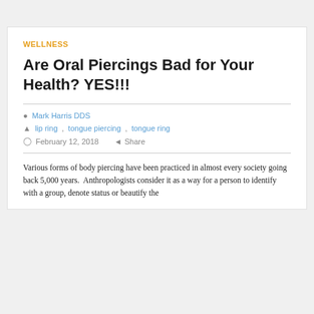WELLNESS
Are Oral Piercings Bad for Your Health? YES!!!
Mark Harris DDS
lip ring, tongue piercing, tongue ring
February 12, 2018   Share
Various forms of body piercing have been practiced in almost every society going back 5,000 years.  Anthropologists consider it as a way for a person to identify with a group, denote status or beautify the